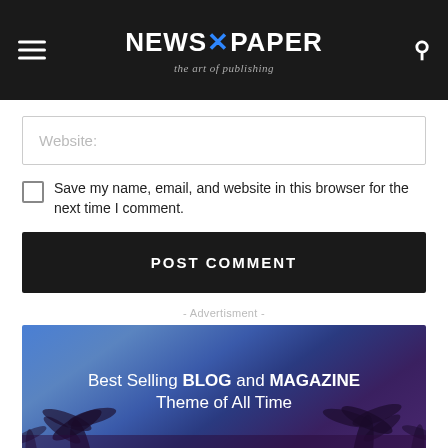NEWSPAPER - the art of publishing
Website:
Save my name, email, and website in this browser for the next time I comment.
POST COMMENT
- Advertisment -
[Figure (illustration): Advertisement banner image with palm tree silhouettes against a blue-purple gradient sky, with text 'Best Selling BLOG and MAGAZINE Theme of All Time']